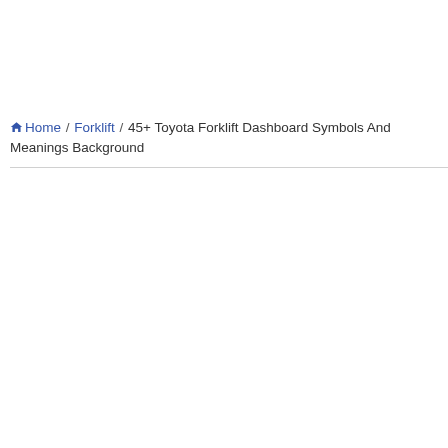Home / Forklift / 45+ Toyota Forklift Dashboard Symbols And Meanings Background